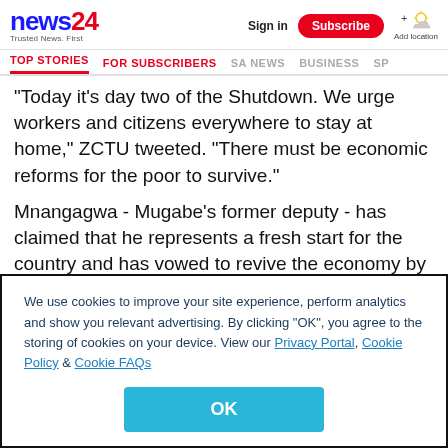news24 - Trusted News. First | Sign in | Subscribe | Add location
TOP STORIES | FOR SUBSCRIBERS | SA NEWS | BUSINESS | SP
"Today it's day two of the Shutdown. We urge workers and citizens everywhere to stay at home," ZCTU tweeted. "There must be economic reforms for the poor to survive."
Mnangagwa - Mugabe's former deputy - has claimed that he represents a fresh start for the country and has vowed to revive the economy by attracting foreign investment.
We use cookies to improve your site experience, perform analytics and show you relevant advertising. By clicking "OK", you agree to the storing of cookies on your device. View our Privacy Portal, Cookie Policy & Cookie FAQs
OK